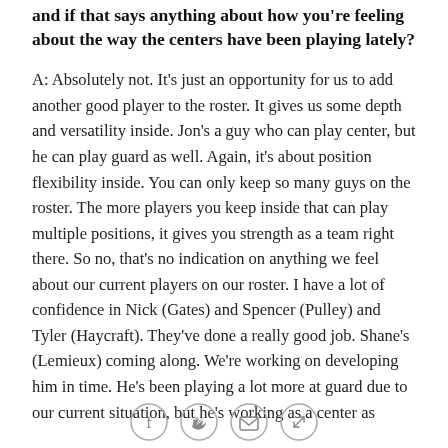and if that says anything about how you're feeling about the way the centers have been playing lately?
A: Absolutely not. It's just an opportunity for us to add another good player to the roster. It gives us some depth and versatility inside. Jon's a guy who can play center, but he can play guard as well. Again, it's about position flexibility inside. You can only keep so many guys on the roster. The more players you keep inside that can play multiple positions, it gives you strength as a team right there. So no, that's no indication on anything we feel about our current players on our roster. I have a lot of confidence in Nick (Gates) and Spencer (Pulley) and Tyler (Haycraft). They've done a really good job. Shane's (Lemieux) coming along. We're working on developing him in time. He's been playing a lot more at guard due to our current situation, but he's working as a center as
[Figure (other): Social sharing icons: Facebook, Twitter, Email, Link]